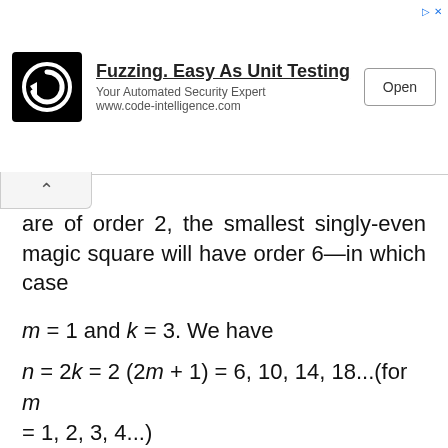[Figure (other): Advertisement banner: Code Intelligence logo (black square with white circular arrow icon), text 'Fuzzing. Easy As Unit Testing', 'Your Automated Security Expert', 'www.code-intelligence.com', and an 'Open' button.]
are of order 2, the smallest singly-even magic square will have order 6—in which case
Each of the four quadrants contains k² different numbers. We start by creating a magic square of odd-order k according to the method described earlier. For n = 6 and